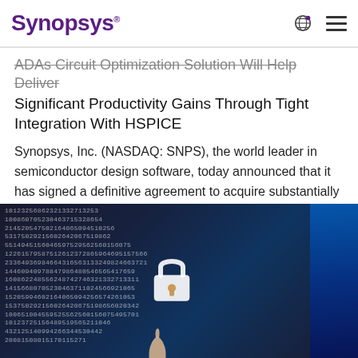SYNOPSYS
ADAs Circuit Optimization Solution Will Help Deliver Significant Productivity Gains Through Tight Integration With HSPICE
Synopsys, Inc. (NASDAQ: SNPS), the world leader in semiconductor design software, today announced that it has signed a definitive agreement to acquire substantially all of the assets of Analog...
[Figure (photo): A person in a hoodie with streams of binary/numeric code overlaid on a dark background, with a glowing padlock icon in the center, and a hand pointing at it from below — representing cybersecurity.]